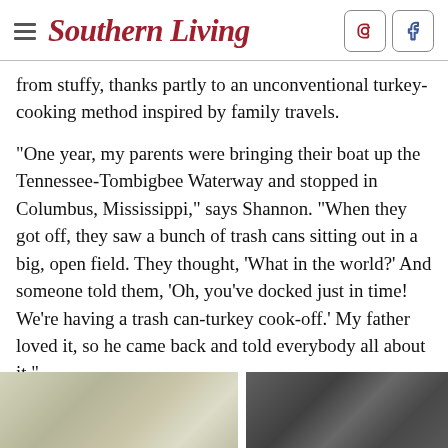Southern Living
from stuffy, thanks partly to an unconventional turkey-cooking method inspired by family travels.
"One year, my parents were bringing their boat up the Tennessee-Tombigbee Waterway and stopped in Columbus, Mississippi," says Shannon. "When they got off, they saw a bunch of trash cans sitting out in a big, open field. They thought, 'What in the world?' And someone told them, 'Oh, you've docked just in time! We're having a trash can-turkey cook-off.' My father loved it, so he came back and told everybody all about it."
[Figure (photo): Two side-by-side outdoor/people photographs at the bottom of the page, partially cropped.]